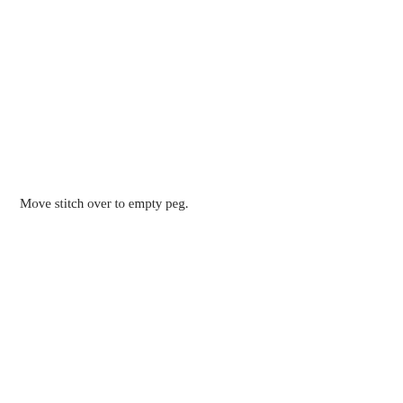Move stitch over to empty peg.